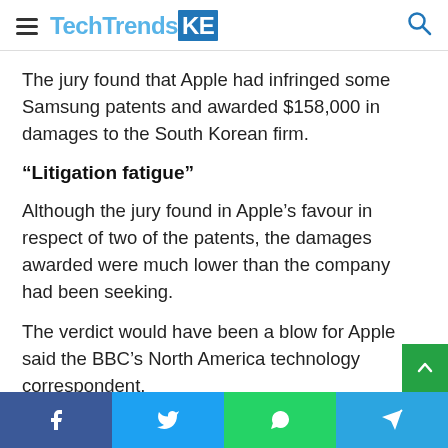TechTrendsKE
The jury found that Apple had infringed some Samsung patents and awarded $158,000 in damages to the South Korean firm.
“Litigation fatigue”
Although the jury found in Apple’s favour in respect of two of the patents, the damages awarded were much lower than the company had been seeking.
The verdict would have been a blow for Apple said the BBC’s North America technology correspondent, Richard Taylor, speaking at the time.